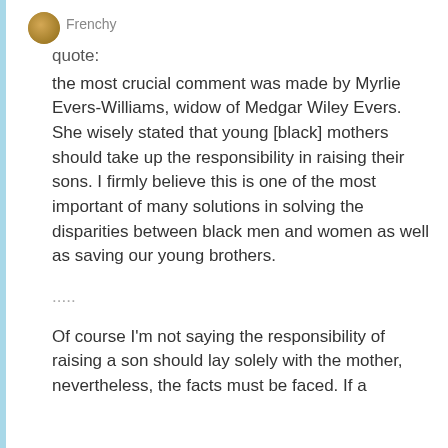Frenchy
quote:
the most crucial comment was made by Myrlie Evers-Williams, widow of Medgar Wiley Evers. She wisely stated that young [black] mothers should take up the responsibility in raising their sons. I firmly believe this is one of the most important of many solutions in solving the disparities between black men and women as well as saving our young brothers.
.....
Of course I'm not saying the responsibility of raising a son should lay solely with the mother, nevertheless, the facts must be faced. If a